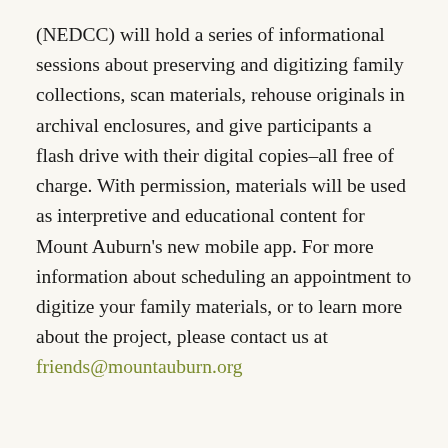(NEDCC) will hold a series of informational sessions about preserving and digitizing family collections, scan materials, rehouse originals in archival enclosures, and give participants a flash drive with their digital copies–all free of charge. With permission, materials will be used as interpretive and educational content for Mount Auburn's new mobile app. For more information about scheduling an appointment to digitize your family materials, or to learn more about the project, please contact us at friends@mountauburn.org